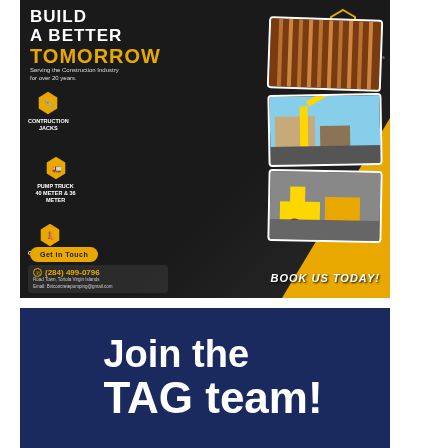[Figure (infographic): Kelvin Willock construction services advertisement. Dark background with 'BUILD A BETTER TOMORROW' headline (TOMORROW in gold/yellow). Features: Construction Jacks, Pump Truck 40 Meter & 36 Meter, Construction Shoes — each with hexagon icon. Three photos of construction equipment on the right. Contact: (284) 499-0796, Road Town, Tortola Virgin Islands, Email: Bviconcretepumping@gmail.com. Gold 'Get in Touch' button. 'BOOK US TODAY!' text. Company logo: Kelvin Willock D.B.A. Bulldog Concrete Pumping Services.]
[Figure (infographic): Blue rectangle banner with white bold text: 'Join the TAG team!']